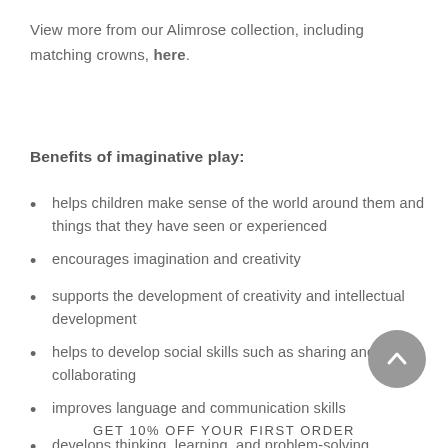View more from our Alimrose collection, including matching crowns, here.
Benefits of imaginative play:
helps children make sense of the world around them and things that they have seen or experienced
encourages imagination and creativity
supports the development of creativity and intellectual development
helps to develop social skills such as sharing and collaborating
improves language and communication skills
develops thinking, learning, and problem-solving
GET 10% OFF YOUR FIRST ORDER